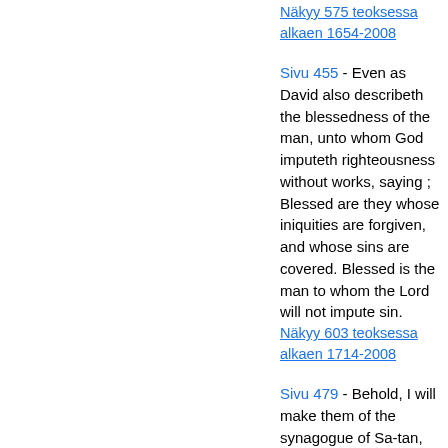Näkyy 575 teoksessa alkaen 1654-2008
Sivu 455 - Even as David also describeth the blessedness of the man, unto whom God imputeth righteousness without works, saying ; Blessed are they whose iniquities are forgiven, and whose sins are covered. Blessed is the man to whom the Lord will not impute sin.
Näkyy 603 teoksessa alkaen 1714-2008
Sivu 479 - Behold, I will make them of the synagogue of Sa-tan, which say they are Jews, and are not, but do lie ; behold, I will make them